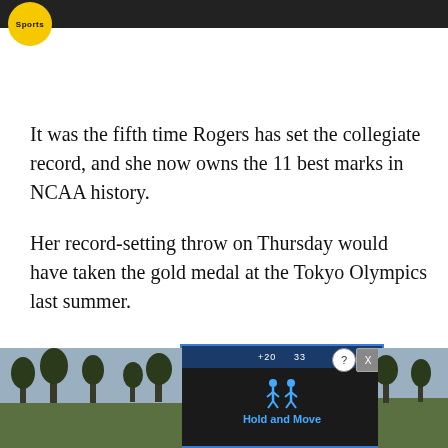Sports
It was the fifth time Rogers has set the collegiate record, and she now owns the 11 best marks in NCAA history.
Her record-setting throw on Thursday would have taken the gold medal at the Tokyo Olympics last summer.
[Figure (screenshot): Advertisement overlay showing a fitness app 'Hold and Move' with a dark background, score bar showing +20 and 33, and two human figure icons. Partially visible text on left reads 'All s' and on right reads 'ey'.]